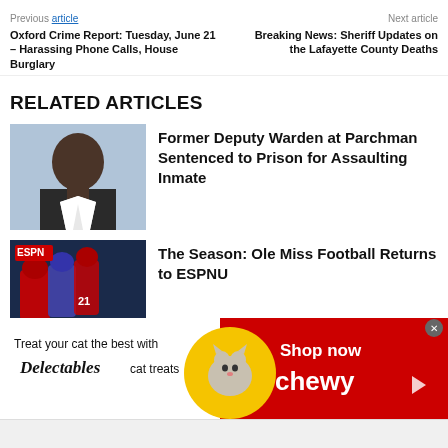Previous article | Next article
Oxford Crime Report: Tuesday, June 21 – Harassing Phone Calls, House Burglary
Breaking News: Sheriff Updates on the Lafayette County Deaths
RELATED ARTICLES
[Figure (photo): Headshot photo of a man in a suit against a light blue background]
Former Deputy Warden at Parchman Sentenced to Prison for Assaulting Inmate
[Figure (photo): Sports photo showing football players and ESPN logo with infolinks banner]
The Season: Ole Miss Football Returns to ESPNU
[Figure (infographic): Advertisement: Treat your cat the best with Delectables cat treats. Shop now at Chewy.]